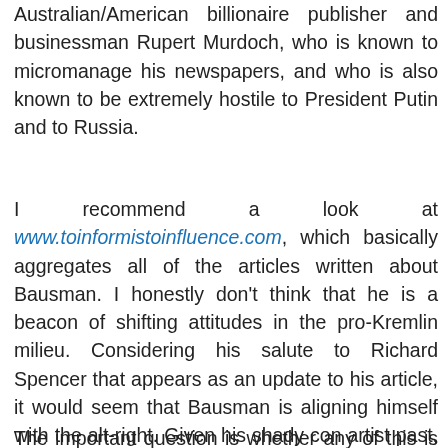Australian/American billionaire publisher and businessman Rupert Murdoch, who is known to micromanage his newspapers, and who is also known to be extremely hostile to President Putin and to Russia.
I recommend a look at www.toinformistoinfluence.com, which basically aggregates all of the articles written about Bausman. I honestly don't think that he is a beacon of shifting attitudes in the pro-Kremlin milieu. Considering his salute to Richard Spencer that appears as an update to his article, it would seem that Bausman is aligning himself with the alt-right. Given his shady con artist past, it is plausible that he is trying to tap into whoever is funding the neo-Nazi movement in the USA.
The important question is whether any of this is reflected